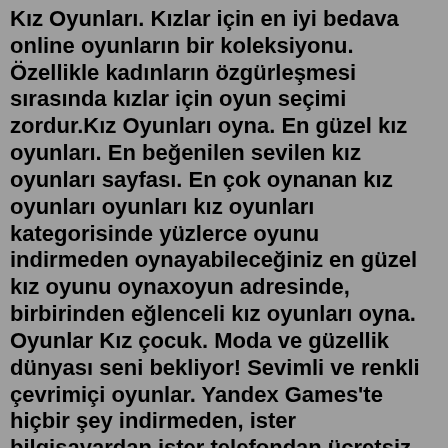Kız Oyunları. Kızlar için en iyi bedava online oyunların bir koleksiyonu. Özellikle kadınların özgürleşmesi sırasında kızlar için oyun seçimi zordur.Kız Oyunları oyna. En güzel kız oyunları. En beğenilen sevilen kız oyunları sayfası. En çok oynanan kız oyunları oyunları kız oyunları kategorisinde yüzlerce oyunu indirmeden oynayabileceğiniz en güzel kız oyunu oynaxoyun adresinde, birbirinden eğlenceli kız oyunları oyna. Oyunlar Kız çocuk. Moda ve güzellik dünyası seni bekliyor! Sevimli ve renkli çevrimiçi oyunlar. Yandex Games'te hiçbir şey indirmeden, ister bilgisayardan ister telefondan ücretsiz oyna.Kız oyunları Bizim seçim online oyun dünyasında eğlenmek isteyen bütün kızlara adamıştır. Şimdi sadece soğuk şansına sahip ve eğlenceli oyunlar keşfetmek değil, aynı zamanda eğitici.› ›› Kız Oyunları Oyna. Kızlar için özenle hazırladığımız bu kategoride harika oyunlar yer almaktadır! Ücretsiz olarak hazırladığımız yeni kız oyunlarını sürekli olarak güncellemekteyiz.Haydi Kızlar İş başına. Bu oyunlar Kız Oyunları Sevenlere.